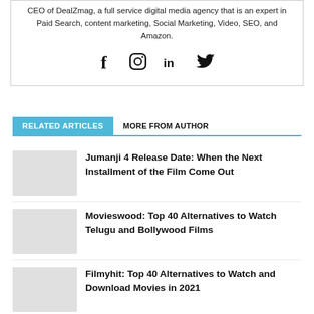CEO of DealZmag, a full service digital media agency that is an expert in Paid Search, content marketing, Social Marketing, Video, SEO, and Amazon.
[Figure (other): Social media icons: Facebook (f), Instagram (circle icon), LinkedIn (in), Twitter (bird icon)]
RELATED ARTICLES   MORE FROM AUTHOR
Jumanji 4 Release Date: When the Next Installment of the Film Come Out
Movieswood: Top 40 Alternatives to Watch Telugu and Bollywood Films
Filmyhit: Top 40 Alternatives to Watch and Download Movies in 2021